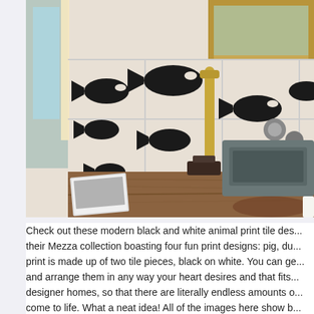[Figure (photo): A modern bathroom interior featuring a rectangular stone/concrete vessel sink on a rustic wooden countertop. White tiles on the wall are decorated with black fish/whale animal print designs. A gold/brass cylindrical faucet is mounted on the tile wall. A framed ornate mirror is partially visible at the top. A book or magazine sits on the wooden counter to the left of the sink.]
Check out these modern black and white animal print tile designs from their Mezza collection boasting four fun print designs: pig, du... print is made up of two tile pieces, black on white. You can ge... and arrange them in any way your heart desires and that fits... designer homes, so that there are literally endless amounts o... come to life. What a neat idea! All of the images here show b...